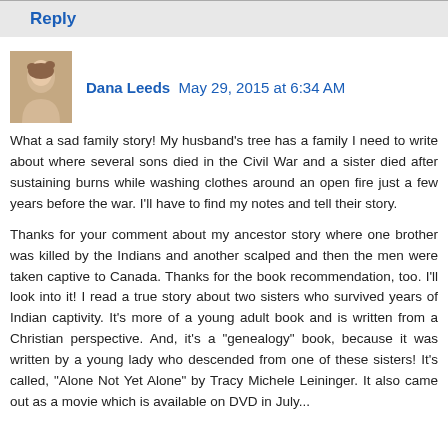Reply
Dana Leeds  May 29, 2015 at 6:34 AM
What a sad family story! My husband's tree has a family I need to write about where several sons died in the Civil War and a sister died after sustaining burns while washing clothes around an open fire just a few years before the war. I'll have to find my notes and tell their story.

Thanks for your comment about my ancestor story where one brother was killed by the Indians and another scalped and then the men were taken captive to Canada. Thanks for the book recommendation, too. I'll look into it! I read a true story about two sisters who survived years of Indian captivity. It's more of a young adult book and is written from a Christian perspective. And, it's a "genealogy" book, because it was written by a young lady who descended from one of these sisters! It's called, "Alone Not Yet Alone" by Tracy Michele Leininger. It also came out as a movie which is available on DVD in July...